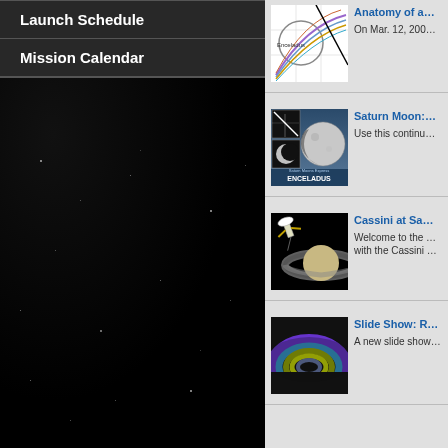Launch Schedule
Mission Calendar
[Figure (screenshot): Thumbnail showing Enceladus flyby diagram with colored arc lines and grid]
Anatomy of a…
On Mar. 12, 200…
[Figure (screenshot): Saturn Moons Explorer Enceladus composite image showing moon and inset spacecraft views]
Saturn Moon:…
Use this continu…
[Figure (illustration): Cassini spacecraft near Saturn with rings]
Cassini at Sa…
Welcome to the … with the Cassini …
[Figure (illustration): Saturn rings false-color image with blue, green, and yellow bands]
Slide Show: R…
A new slide show…